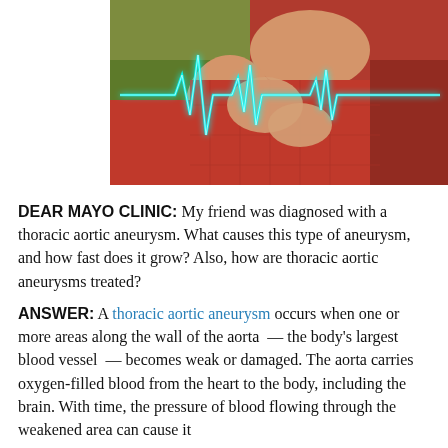[Figure (photo): A person holding their chest with both hands, with a glowing blue ECG/heartbeat line overlaid on the image. The person is wearing a red plaid shirt.]
DEAR MAYO CLINIC: My friend was diagnosed with a thoracic aortic aneurysm. What causes this type of aneurysm, and how fast does it grow? Also, how are thoracic aortic aneurysms treated?
ANSWER: A thoracic aortic aneurysm occurs when one or more areas along the wall of the aorta — the body's largest blood vessel — becomes weak or damaged. The aorta carries oxygen-filled blood from the heart to the body, including the brain. With time, the pressure of blood flowing through the weakened area can cause it